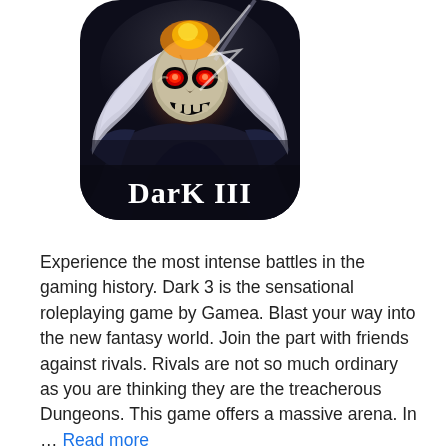[Figure (illustration): App icon for Dark III game — shows a skull-faced character with white flowing hair, glowing red eyes and orange fire, wearing dark armor. The text 'DarK III' appears at the bottom of the rounded-square icon.]
Experience the most intense battles in the gaming history. Dark 3 is the sensational roleplaying game by Gamea. Blast your way into the new fantasy world. Join the part with friends against rivals. Rivals are not so much ordinary as you are thinking they are the treacherous Dungeons. This game offers a massive arena. In ... Read more